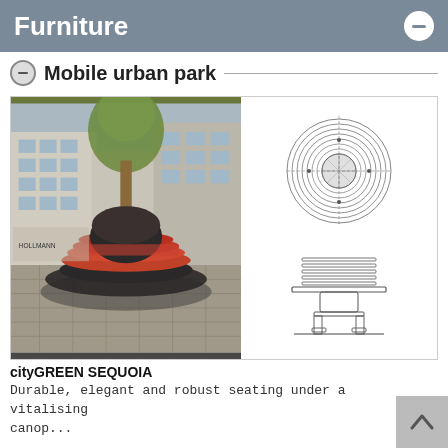Furniture
Mobile urban park
[Figure (photo): Left: photograph of a circular red-slatted bench around a tree base (cityGREEN SEQUOIA) installed in an urban plaza with buildings in background. Right: technical line drawings showing top-view (plan) and side-view (elevation) of the circular seating unit.]
cityGREEN SEQUOIA
Durable, elegant and robust seating under a vitalising canop...